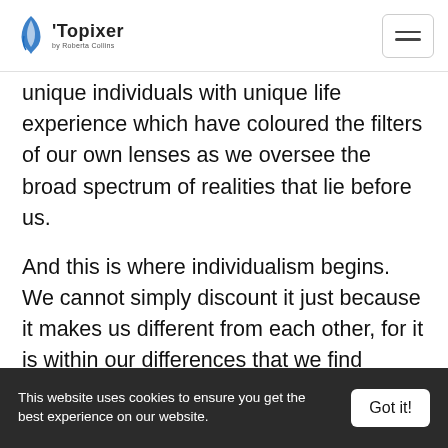Topixer
unique individuals with unique life experience which have coloured the filters of our own lenses as we oversee the broad spectrum of realities that lie before us.
And this is where individualism begins. We cannot simply discount it just because it makes us different from each other, for it is within our differences that we find beauty, that we find joy, solace, that we find interesting connections with the world around us. We will each perceive things differently at some level
This website uses cookies to ensure you get the best experience on our website.